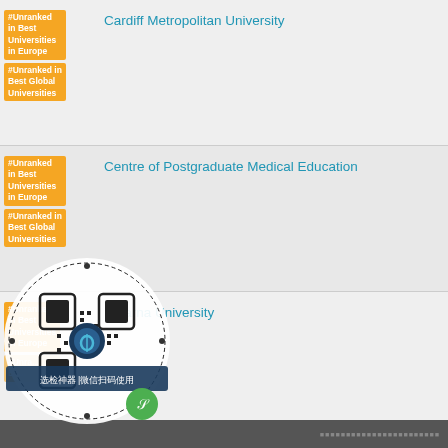| Rank Badge | University Name |
| --- | --- |
| #Unranked in Best Universities in Europe
#Unranked in Best Global Universities | Cardiff Metropolitan University |
| #Unranked in Best Universities in Europe
#Unranked in Best Global Universities | Centre of Postgraduate Medical Education |
| #Unranked in Best Universities in Europe
#Unranked in Best Global Universities | Dalarna University |
| #Unranked in Best Universities in Europe
#Unranked in Best Global Universities | Centrale de Nantes |